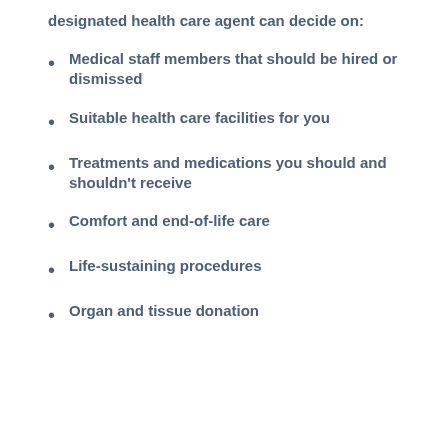designated health care agent can decide on:
Medical staff members that should be hired or dismissed
Suitable health care facilities for you
Treatments and medications you should and shouldn't receive
Comfort and end-of-life care
Life-sustaining procedures
Organ and tissue donation